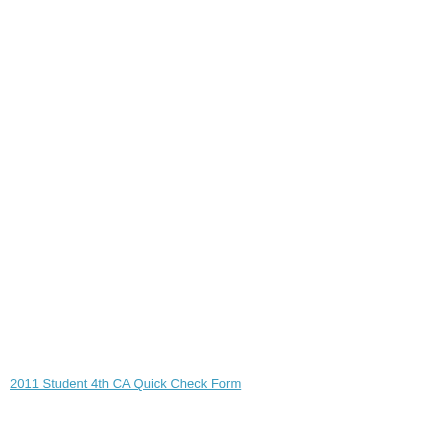2011 Student 4th CA Quick Check Form